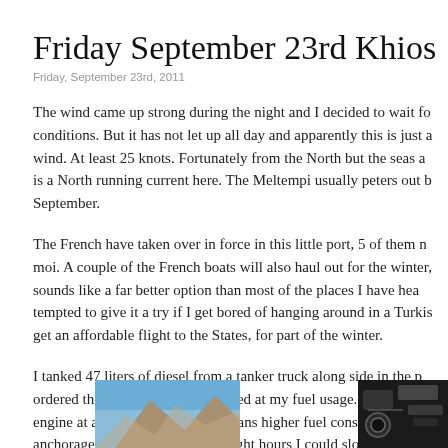Friday September 23rd Khios
Friday, September 23rd, 2011
The wind came up strong during the night and I decided to wait for better conditions. But it has not let up all day and apparently this is just a Meltempi wind. At least 25 knots. Fortunately from the North but the seas are big, there is a North running current here. The Meltempi usually peters out by mid September.
The French have taken over in force in this little port, 5 of them not counting moi. A couple of the French boats will also haul out for the winter, here. It sounds like a far better option than most of the places I have heard of. I am tempted to give it a try if I get bored of hanging around in a Turkish boatyard or get an affordable flight to the States, for part of the winter.
I tanked 47 liters of diesel from a tanker truck along side in the port, I ordered the delivery. I was surprised at my fuel usage. Now that I run the engine at a higher RPM it also means higher fuel consumption. If I could reach anchorages within the short day light hours I could slow down but I have been doing mostly 50 mile plus passages.
[Figure (photo): Partial view of a rocky coastal or hillside scene with blue sky]
[Figure (photo): Dark engine or mechanical equipment close-up]